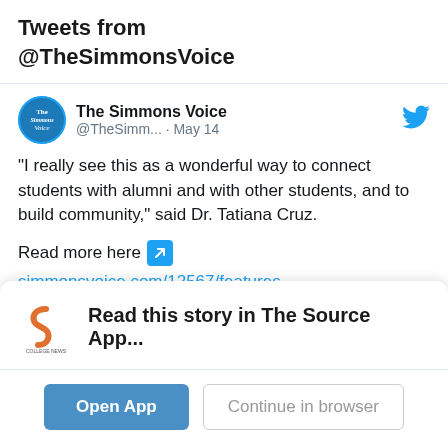Tweets from @TheSimmonsVoice
[Figure (screenshot): Tweet from The Simmons Voice (@TheSimm...) dated May 14 with Twitter bird icon. Tweet text: “I really see this as a wonderful way to connect students with alumni and with other students, and to build community,” said Dr. Tatiana Cruz. Read more here [link icon] simmonsvoice.com/12567/features... with a preview card showing a photo and simmonsvoice.com]
Read this story in The Source App...
Open App
Continue in browser